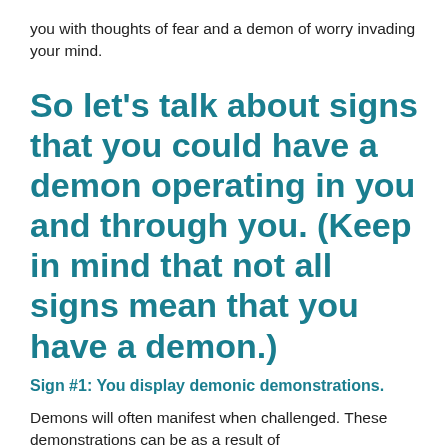you with thoughts of fear and a demon of worry invading your mind.
So let’s talk about signs that you could have a demon operating in you and through you. (Keep in mind that not all signs mean that you have a demon.)
Sign #1: You display demonic demonstrations.
Demons will often manifest when challenged. These demonstrations can be as a result of